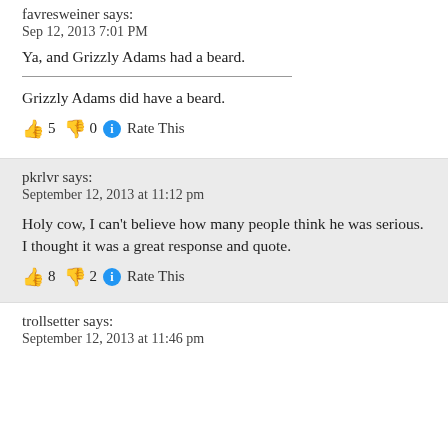favresweiner says:
Sep 12, 2013 7:01 PM
Ya, and Grizzly Adams had a beard.
Grizzly Adams did have a beard.
👍 5 👎 0 ℹ Rate This
pkrlvr says:
September 12, 2013 at 11:12 pm
Holy cow, I can't believe how many people think he was serious. I thought it was a great response and quote.
👍 8 👎 2 ℹ Rate This
trollsetter says:
September 12, 2013 at 11:46 pm